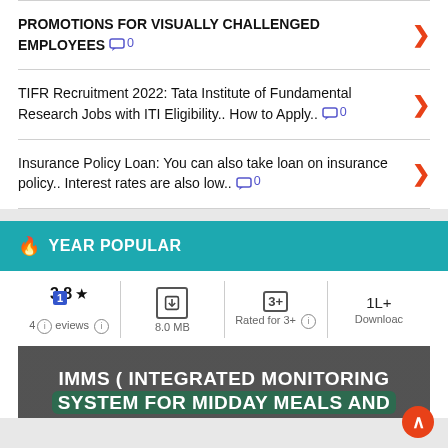PROMOTIONS FOR VISUALLY CHALLENGED EMPLOYEES 0
TIFR Recruitment 2022: Tata Institute of Fundamental Research Jobs with ITI Eligibility.. How to Apply.. 0
Insurance Policy Loan: You can also take loan on insurance policy.. Interest rates are also low.. 0
YEAR POPULAR
3.8 ★  4 reviews  |  8.0 MB  |  Rated for 3+  |  1L+ Downloads
[Figure (screenshot): App banner showing IMMS (INTEGRATED MONITORING SYSTEM FOR MIDDAY MEALS AND...)]